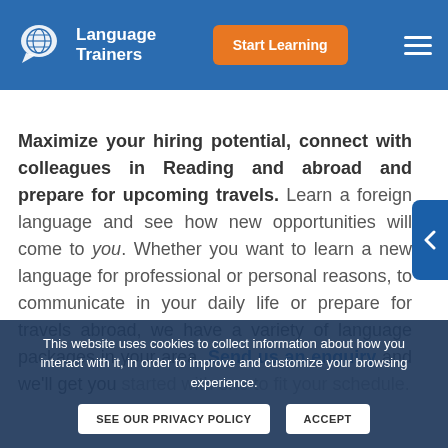Language Trainers | Start Learning
Maximize your hiring potential, connect with colleagues in Reading and abroad and prepare for upcoming travels. Learn a foreign language and see how new opportunities will come to you. Whether you want to learn a new language for professional or personal reasons, to communicate in your daily life or prepare for travels abroad, we have a variety of language packages in your area. Send us an enquiry and we'll get you started with one to fit your schedule.
This website uses cookies to collect information about how you interact with it, in order to improve and customize your browsing experience.